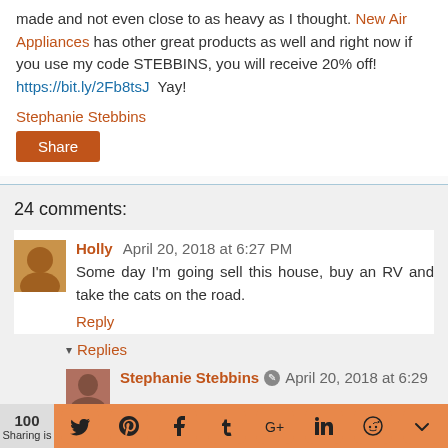made and not even close to as heavy as I thought. New Air Appliances has other great products as well and right now if you use my code STEBBINS, you will receive 20% off! https://bit.ly/2Fb8tsJ  Yay!
Stephanie Stebbins
Share
24 comments:
Holly  April 20, 2018 at 6:27 PM
Some day I'm going sell this house, buy an RV and take the cats on the road.
Reply
▾  Replies
Stephanie Stebbins  April 20, 2018 at 6:29